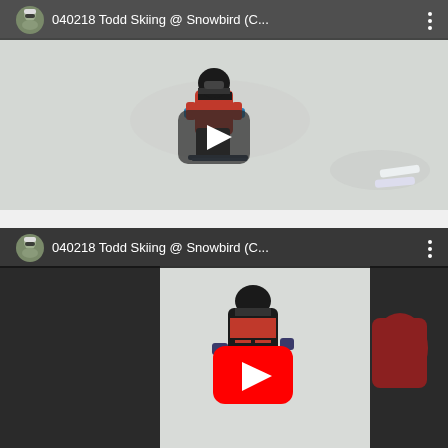[Figure (screenshot): YouTube video thumbnail showing a child skiing on a snow slope. Header shows avatar, title '040218 Todd Skiing @ Snowbird (C...' and three-dot menu. A white play button overlay is centered on the video.]
[Figure (screenshot): YouTube video card showing same video '040218 Todd Skiing @ Snowbird (C...' with a child skiing, split view, and a large red YouTube play button centered on the thumbnail.]